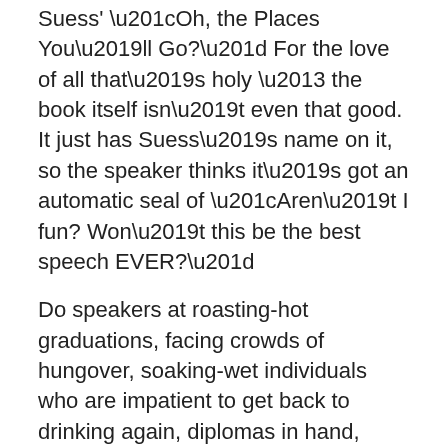Suess' “Oh, the Places You’ll Go?” For the love of all that’s holy – the book itself isn’t even that good. It just has Suess’s name on it, so the speaker thinks it’s got an automatic seal of “Aren’t I fun? Won’t this be the best speech EVER?”
Do speakers at roasting-hot graduations, facing crowds of hungover, soaking-wet individuals who are impatient to get back to drinking again, diplomas in hand, think that anyone – even the proud, ignorant parents – think anyone is really listening to a word they say? Especially if they say anything past three minutes or so?
[Figure (illustration): Small image placeholder icon]
Why these institutions relentlessly opt for the most boring speakers, year after year, spouting the same, clichéd “advice, I will never “in my life figure out.
I think they do. I think there’s something about a